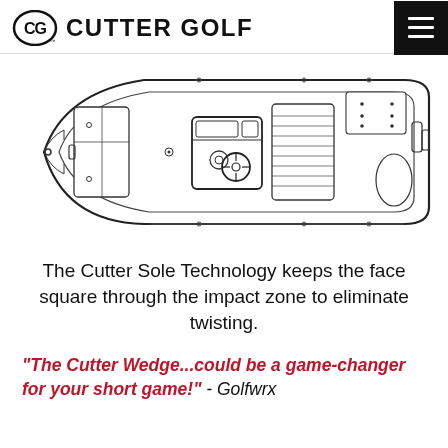CUTTER GOLF
[Figure (schematic): Top-down schematic/blueprint line drawing of a boat (golf wedge sole technology diagram), showing the boat hull outline, steering wheel, seating, engine controls, and interior layout from aerial view.]
The Cutter Sole Technology keeps the face square through the impact zone to eliminate twisting.
"The Cutter Wedge...could be a game-changer for your short game!" - Golfwrx